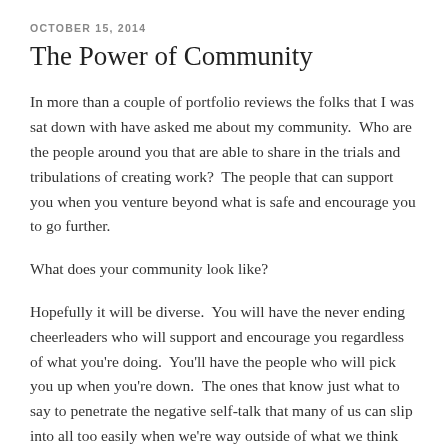OCTOBER 15, 2014
The Power of Community
In more than a couple of portfolio reviews the folks that I was sat down with have asked me about my community.  Who are the people around you that are able to share in the trials and tribulations of creating work?  The people that can support you when you venture beyond what is safe and encourage you to go further.
What does your community look like?
Hopefully it will be diverse.  You will have the never ending cheerleaders who will support and encourage you regardless of what you're doing.  You'll have the people who will pick you up when you're down.  The ones that know just what to say to penetrate the negative self-talk that many of us can slip into all too easily when we're way outside of what we think we know is good.  Finally you'll